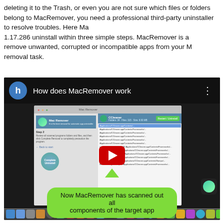deleting it to the Trash, or even you are not sure which files or folders belong to MacRemover, you need a professional third-party uninstaller to resolve troubles. Here MacRemover comes to help you accomplish the MacRemover 1.17.286 uninstall within three simple steps. MacRemover is a powerful Mac uninstaller designed specifically for users who want to remove unwanted, corrupted or incompatible apps from your Mac's file system without worrying about taking care of every removal task.
[Figure (screenshot): YouTube-style video player showing 'How does MacRemover work' with a thumbnail of the Mac Remover application interface. A green callout tooltip at the bottom reads 'Now MacRemover has scanned out all components of the target app'. The video has a red play button overlay. Below the video is a macOS dock bar.]